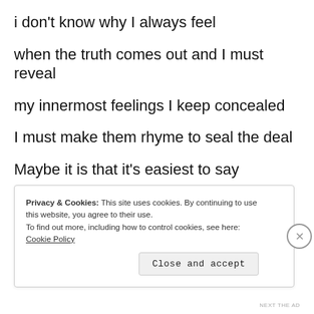i don't know why I always feel
when the truth comes out and I must reveal
my innermost feelings I keep concealed
I must make them rhyme to seal the deal
Maybe it is that it's easiest to say
Privacy & Cookies: This site uses cookies. By continuing to use this website, you agree to their use.
To find out more, including how to control cookies, see here: Cookie Policy
Close and accept